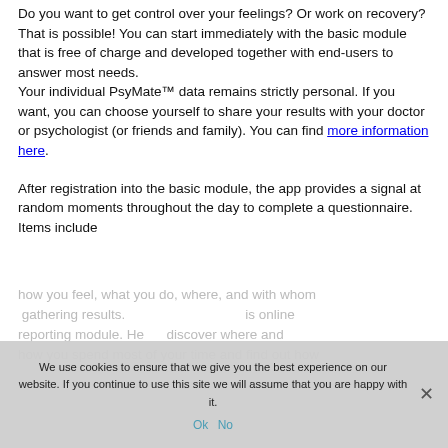Do you want to get control over your feelings? Or work on recovery? That is possible! You can start immediately with the basic module that is free of charge and developed together with end-users to answer most needs.
Your individual PsyMate™ data remains strictly personal. If you want, you can choose yourself to share your results with your doctor or psychologist (or friends and family). You can find more information here.
After registration into the basic module, the app provides a signal at random moments throughout the day to complete a questionnaire. Items include how you feel, what you do, where, and with whom you are. The PsyMate™ automatic online reporting module helps you discover where and how you spend most of your time and find out how...
We use cookies to ensure that we give you the best experience on our website. If you continue to use this site we will assume that you are happy with it.